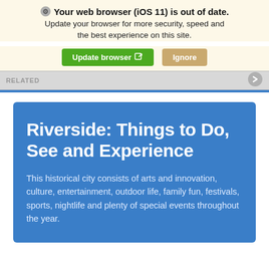Your web browser (iOS 11) is out of date. Update your browser for more security, speed and the best experience on this site.
[Figure (screenshot): Two buttons: 'Update browser' in green and 'Ignore' in tan/brown]
RELATED
Riverside: Things to Do, See and Experience
This historical city consists of arts and innovation, culture, entertainment, outdoor life, family fun, festivals, sports, nightlife and plenty of special events throughout the year.